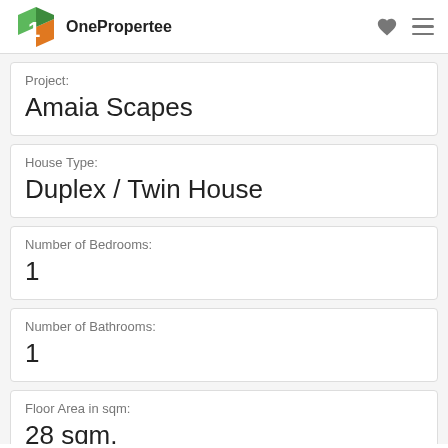OnePropertee
Project: Amaia Scapes
House Type: Duplex / Twin House
Number of Bedrooms: 1
Number of Bathrooms: 1
Floor Area in sqm: 28 sqm.
Lot Area in sqm: 75 sqm.